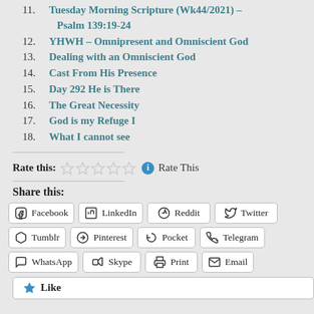11. Tuesday Morning Scripture (Wk44/2021) – Psalm 139:19-24
12. YHWH – Omnipresent and Omniscient God
13. Dealing with an Omniscient God
14. Cast From His Presence
15. Day 292 He is There
16. The Great Necessity
17. God is my Refuge I
18. What I cannot see
Rate this: ☆☆☆☆☆  Rate This
Share this:
Facebook  LinkedIn  Reddit  Twitter  Tumblr  Pinterest  Pocket  Telegram  WhatsApp  Skype  Print  Email
Like